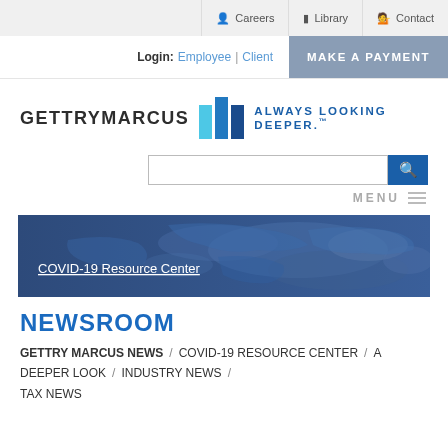Careers | Library | Contact
Login: Employee | Client  MAKE A PAYMENT
[Figure (logo): Gettry Marcus logo with three vertical bars (light blue, medium blue, dark blue) and tagline ALWAYS LOOKING DEEPER.™]
[Figure (other): Search input box with blue search button]
MENU
[Figure (photo): Banner image showing world map in blue tones with text: COVID-19 Resource Center]
NEWSROOM
GETTRY MARCUS NEWS / COVID-19 RESOURCE CENTER / A DEEPER LOOK / INDUSTRY NEWS / TAX NEWS